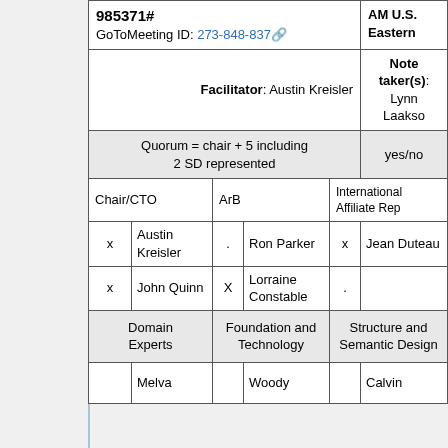| 985371#
GoToMeeting ID: 273-848-837 | AM U.S. Eastern |
| Facilitator: Austin Kreisler | Note taker(s): Lynn Laakso |
| Quorum = chair + 5 including 2 SD represented | yes/no |
| Chair/CTO | ArB | International Affiliate Rep |
| x | Austin Kreisler | . | Ron Parker | x | Jean Duteau |
| x | John Quinn | X | Lorraine Constable | . |  |
| Domain Experts | Foundation and Technology | Structure and Semantic Design |
|  | Melva |  | Woody |  | Calvin |